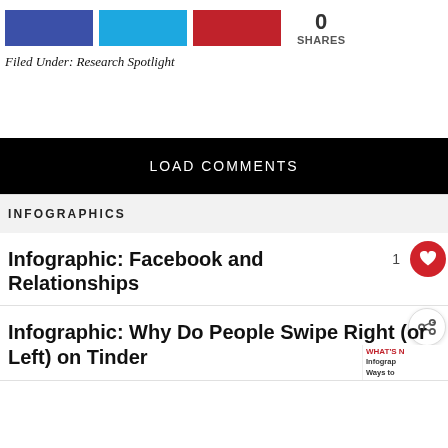[Figure (infographic): Three colored share buttons (blue Facebook, cyan Twitter, red Pinterest) and a share count showing 0 SHARES]
Filed Under: Research Spotlight
LOAD COMMENTS
INFOGRAPHICS
Infographic: Facebook and Relationships
Infographic: Why Do People Swipe Right (or Left) on Tinder